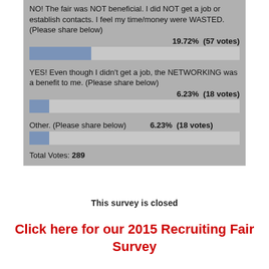[Figure (bar-chart): Survey results]
Total Votes: 289
This survey is closed
Click here for our 2015 Recruiting Fair Survey